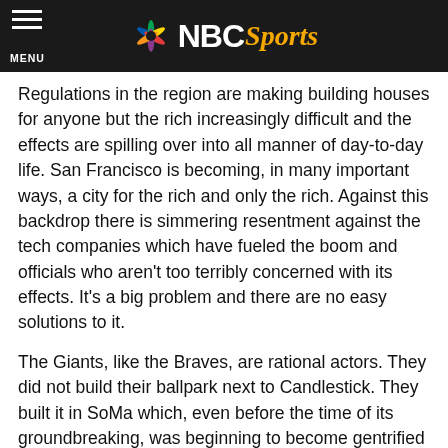NBC Sports
Regulations in the region are making building houses for anyone but the rich increasingly difficult and the effects are spilling over into all manner of day-to-day life. San Francisco is becoming, in many important ways, a city for the rich and only the rich. Against this backdrop there is simmering resentment against the tech companies which have fueled the boom and officials who aren't too terribly concerned with its effects. It's a big problem and there are no easy solutions to it.
The Giants, like the Braves, are rational actors. They did not build their ballpark next to Candlestick. They built it in SoMa which, even before the time of its groundbreaking, was beginning to become gentrified with museums and clubs taking over old warehouse space and with savvy developers already envisioning the condos that would house the armies of upwardly mobile workers for the